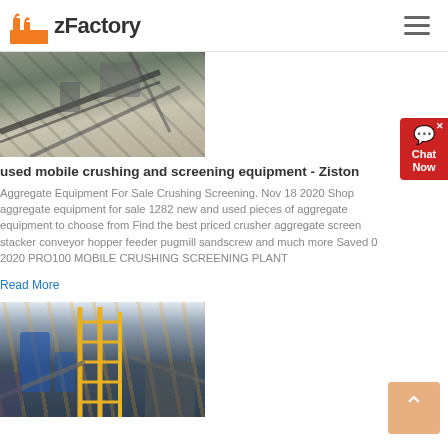zFactory
[Figure (photo): Aerial view of a mobile crushing and screening equipment setup at a quarry or mining site, showing conveyor belts and machinery.]
used mobile crushing and screening equipment - Ziston
Aggregate Equipment For Sale Crushing Screening. Nov 18 2020 Shop aggregate equipment for sale 1282 new and used pieces of aggregate equipment to choose from Find the best priced crusher aggregate screen stacker conveyor hopper feeder pugmill sandscrew and much more Saved 0 2020 PRO100 MOBILE CRUSHING SCREENING PLANT
Read More
[Figure (photo): Industrial plant with yellow scaffolding, blue silos, conveyors, and processing equipment.]